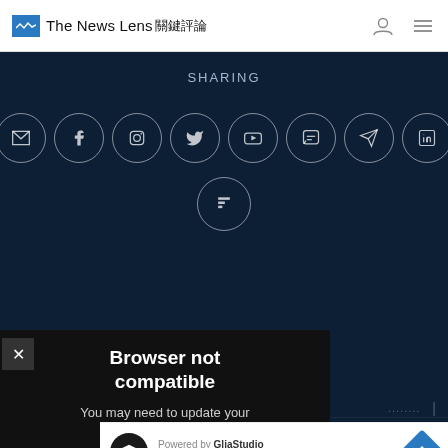The News Lens 關鍵評論
SHARING
[Figure (infographic): Social sharing icons in circles on dark background: email, Facebook, Instagram, Twitter, YouTube, Line/chat, Telegram, LinkedIn, Flipboard]
[Figure (screenshot): Browser not compatible error overlay with close button. Text: Browser not compatible. You may need to update your browser. Report ID: 1gap8vuse75s4rsmosj]
ation | Feature Story
cs | Lifestyle | World |
[Figure (infographic): Ad banner: Powered by GliaStudio, In-store shopping, navigation icon]
Abou RSS |